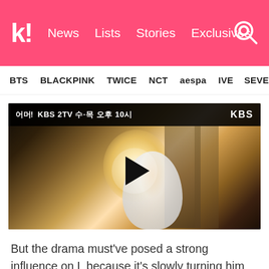k! News  Lists  Stories  Exclusives
BTS  BLACKPINK  TWICE  NCT  aespa  IVE  SEVE
[Figure (screenshot): Video thumbnail showing a KBS 2TV drama scene. Top bar reads: logo, KBS 2TV 수·목 오후 10시, KBS. Scene shows a person sitting by a bright window in a warmly lit room, with a circular play button overlay in the center.]
But the drama must've posed a strong influence on L because it's slowly turning him into a kitty cat in real life as well.